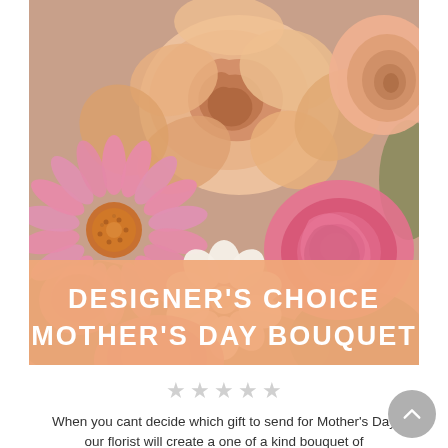[Figure (photo): Close-up photo of a Mother's Day flower bouquet featuring pink gerbera daisies, peach/salmon roses, pink carnations, white flowers, and green foliage. An orange/peach banner overlay at the bottom reads DESIGNER'S CHOICE MOTHER'S DAY BOUQUET in white uppercase bold text.]
[Figure (other): Five empty star rating icons in light gray, indicating no rating yet.]
When you cant decide which gift to send for Mother's Day our florist will create a one of a kind bouquet of